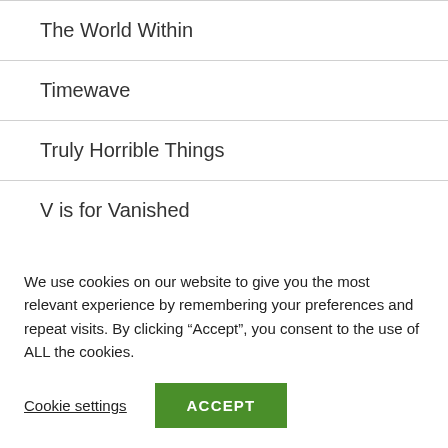The World Within
Timewave
Truly Horrible Things
V is for Vanished
Submissions are now open for core's adult fiction
We use cookies on our website to give you the most relevant experience by remembering your preferences and repeat visits. By clicking “Accept”, you consent to the use of ALL the cookies.
Cookie settings
ACCEPT